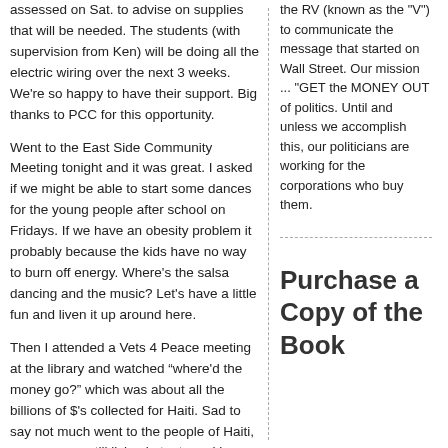assessed on Sat. to advise on supplies that will be needed.  The students (with supervision from Ken) will be doing all the electric wiring over the next 3 weeks.  We're so happy to have their support.   Big thanks to PCC for this opportunity.
Went to the East Side Community Meeting tonight and it was great. I asked if we might be able to start some dances for the young people after school on Fridays. If we have an obesity problem it probably because the kids have no way to burn off energy. Where's the salsa dancing and the music? Let's have a little fun and liven it up around here.
Then I attended a Vets 4 Peace meeting at the library and watched “where'd the money go?” which was about all the billions of $'s collected for Haiti. Sad to say not much went to the people of Haiti, as many are still living in tents and have no bathrooms or 1 bathroom for 200+ people. It was sickening
the RV (known as the "V") to communicate the message that started on Wall Street. Our mission ... "GET the MONEY OUT of politics. Until and unless we accomplish this, our politicians are working for the corporations who buy them.
Purchase a Copy of the Book